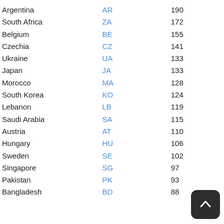| Country | Code | Count |
| --- | --- | --- |
| Argentina | AR | 190 |
| South Africa | ZA | 172 |
| Belgium | BE | 155 |
| Czechia | CZ | 141 |
| Ukraine | UA | 133 |
| Japan | JA | 133 |
| Morocco | MA | 128 |
| South Korea | KO | 124 |
| Lebanon | LB | 119 |
| Saudi Arabia | SA | 115 |
| Austria | AT | 110 |
| Hungary | HU | 106 |
| Sweden | SE | 102 |
| Singapore | SG | 97 |
| Pakistan | PK | 93 |
| Bangladesh | BD | 88 |